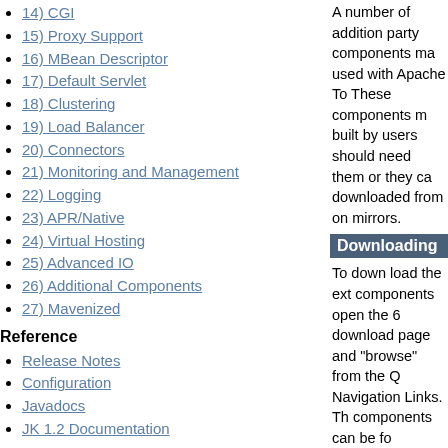14) CGI
15) Proxy Support
16) MBean Descriptor
17) Default Servlet
18) Clustering
19) Load Balancer
20) Connectors
21) Monitoring and Management
22) Logging
23) APR/Native
24) Virtual Hosting
25) Advanced IO
26) Additional Components
27) Mavenized
Reference
Release Notes
Configuration
Javadocs
JK 1.2 Documentation
Apache Tomcat Development
Building
A number of additional third party components may be used with Apache Tomcat. These components may be built by users should they need them or they can be downloaded from one of the mirrors.
Downloading
To down load the extra components open the Tomcat 6 download page and click "browse" from the Quick Navigation Links. The extra components can be found in bin/extras.
Building
The additional components are built using the extras.xml Ant script that is present in the source bundle of Tomcat.